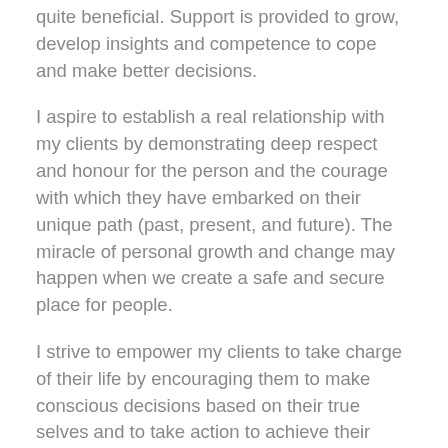quite beneficial. Support is provided to grow, develop insights and competence to cope and make better decisions.
I aspire to establish a real relationship with my clients by demonstrating deep respect and honour for the person and the courage with which they have embarked on their unique path (past, present, and future). The miracle of personal growth and change may happen when we create a safe and secure place for people.
I strive to empower my clients to take charge of their life by encouraging them to make conscious decisions based on their true selves and to take action to achieve their goals. I would like to assist my clients, who range from teens to adults and families, have a healthy and positive outlook on life.
Everything can be taken from a man but one thing: